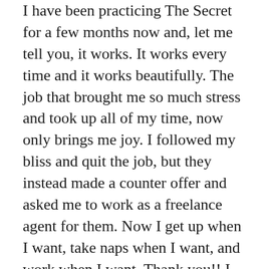I have been practicing The Secret for a few months now and, let me tell you, it works. It works every time and it works beautifully. The job that brought me so much stress and took up all of my time, now only brings me joy. I followed my bliss and quit the job, but they instead made a counter offer and asked me to work as a freelance agent for them. Now I get up when I want, take naps when I want, and work when I want. Thank you!! I have more than enough time for me and even took up Latin Dancing. I am loving it.
Also, I recently got into University, and had to pay tuition & fees in addition to my other bills. I needed around $12,000 to